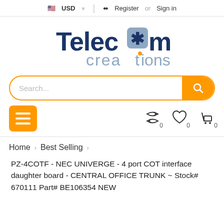USD  |  Register or Sign in
[Figure (logo): Telecom Creations logo — bold dark blue 'Telecom' text with an asterisk-in-square icon replacing the 'o', and light blue-grey 'creations' text below with an orange dot on the 'i']
Search...
Menu icon, compare (0), wishlist (0), cart (0)
Home  >  Best Selling  >
PZ-4COTF - NEC UNIVERGE - 4 port COT interface daughter board - CENTRAL OFFICE TRUNK ~ Stock# 670111 Part# BE106354 NEW